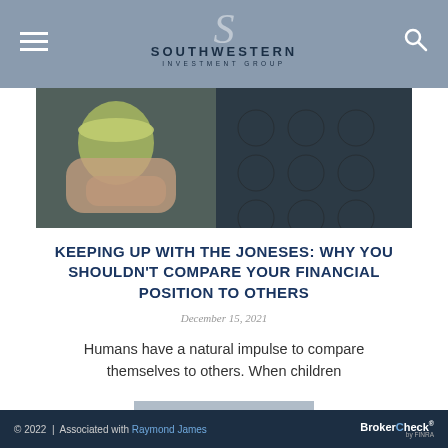SOUTHWESTERN INVESTMENT GROUP
[Figure (photo): Close-up photo of hands holding a yellow/green mug against a dark tufted chair background]
KEEPING UP WITH THE JONESES: WHY YOU SHOULDN'T COMPARE YOUR FINANCIAL POSITION TO OTHERS
December 15, 2021
Humans have a natural impulse to compare themselves to others. When children
READ MORE
© 2022 | Associated with Raymond James   BrokerCheck® by FINRA